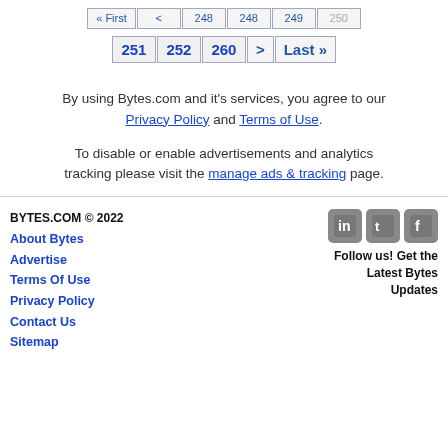« First  < 248 248 249 250 251 252 260 > Last »
By using Bytes.com and it's services, you agree to our Privacy Policy and Terms of Use.
To disable or enable advertisements and analytics tracking please visit the manage ads & tracking page.
BYTES.COM © 2022
About Bytes
Advertise
Terms Of Use
Privacy Policy
Contact Us
Sitemap
Follow us! Get the Latest Bytes Updates